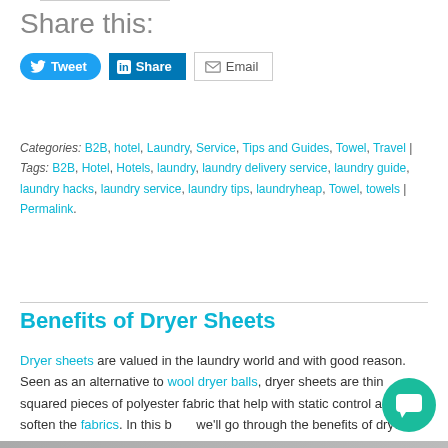Share this:
[Figure (other): Social sharing buttons: Tweet (Twitter), Share (LinkedIn), Email]
Categories: B2B, hotel, Laundry, Service, Tips and Guides, Towel, Travel | Tags: B2B, Hotel, Hotels, laundry, laundry delivery service, laundry guide, laundry hacks, laundry service, laundry tips, laundryheap, Towel, towels | Permalink.
Benefits of Dryer Sheets
Dryer sheets are valued in the laundry world and with good reason. Seen as an alternative to wool dryer balls, dryer sheets are thin squared pieces of polyester fabric that help with static control and also soften the fabrics. In this blog, we'll go through the benefits of dryer sheets.